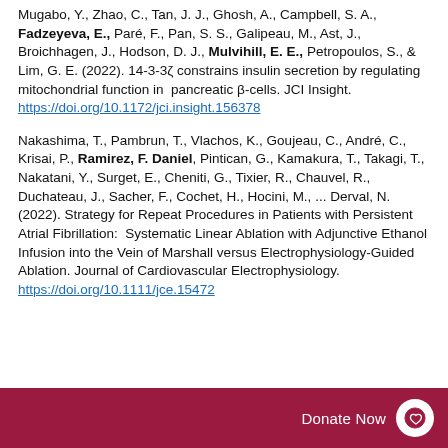Mugabo, Y., Zhao, C., Tan, J. J., Ghosh, A., Campbell, S. A., Fadzeyeva, E., Paré, F., Pan, S. S., Galipeau, M., Ast, J., Broichhagen, J., Hodson, D. J., Mulvihill, E. E., Petropoulos, S., & Lim, G. E. (2022). 14-3-3ζ constrains insulin secretion by regulating mitochondrial function in pancreatic β-cells. JCI Insight. https://doi.org/10.1172/jci.insight.156378
Nakashima, T., Pambrun, T., Vlachos, K., Goujeau, C., André, C., Krisai, P., Ramirez, F. Daniel, Pintican, G., Kamakura, T., Takagi, T., Nakatani, Y., Surget, E., Cheniti, G., Tixier, R., Chauvel, R., Duchateau, J., Sacher, F., Cochet, H., Hocini, M., ... Derval, N. (2022). Strategy for Repeat Procedures in Patients with Persistent Atrial Fibrillation: Systematic Linear Ablation with Adjunctive Ethanol Infusion into the Vein of Marshall versus Electrophysiology-Guided Ablation. Journal of Cardiovascular Electrophysiology. https://doi.org/10.1111/jce.15472
Donate Now